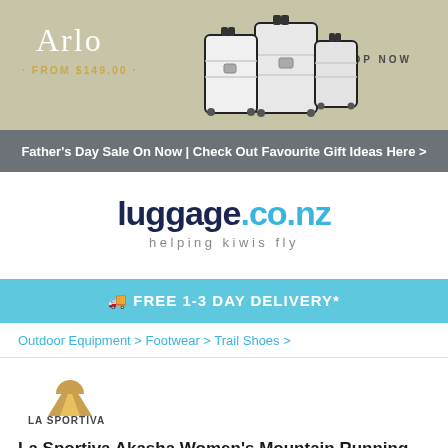[Figure (illustration): Arlo luggage banner ad with white suitcases on beige/olive background. Text: 'Arlo', '· FROM $149.00 ·', 'SHOP NOW']
Father's Day Sale On Now | Check Out Favourite Gift Ideas Here >
[Figure (logo): luggage.co.nz logo — 'luggage' in dark navy, '.co.nz' in light blue, tagline 'helping kiwis fly' in grey]
🚚 FREE 1-3 DAY DELIVERY*
Outdoor Equipment > Footwear > Trail Shoes >
[Figure (logo): La Sportiva brand logo — mountain icon with 'LA SPORTIVA' text]
La Sportiva Akasha Women's Mountain Running Shoes Opal/Aqua